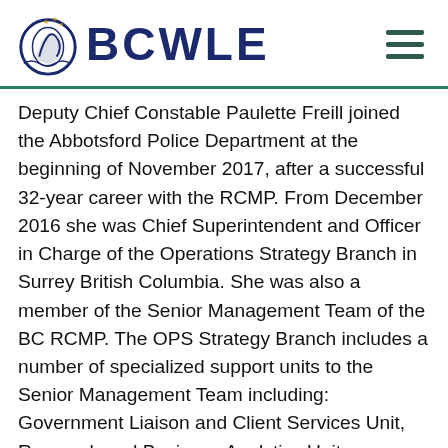BCWLE
Deputy Chief Constable Paulette Freill joined the Abbotsford Police Department at the beginning of November 2017, after a successful 32-year career with the RCMP. From December 2016 she was Chief Superintendent and Officer in Charge of the Operations Strategy Branch in Surrey British Columbia. She was also a member of the Senior Management Team of the BC RCMP. The OPS Strategy Branch includes a number of specialized support units to the Senior Management Team including: Government Liaison and Client Services Unit, Research and Business Analytics Unit, Communication Services, Strategic Planning Unit, Diversity and